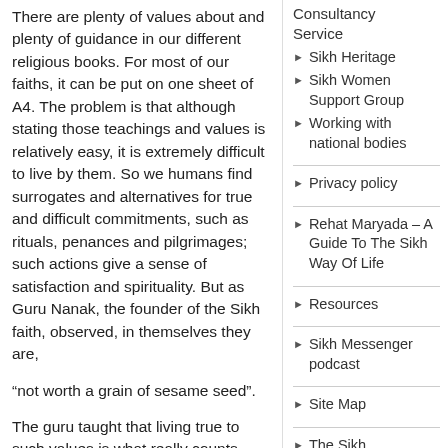There are plenty of values about and plenty of guidance in our different religious books. For most of our faiths, it can be put on one sheet of A4. The problem is that although stating those teachings and values is relatively easy, it is extremely difficult to live by them. So we humans find surrogates and alternatives for true and difficult commitments, such as rituals, penances and pilgrimages; such actions give a sense of satisfaction and spirituality. But as Guru Nanak, the founder of the Sikh faith, observed, in themselves they are,
“not worth a grain of sesame seed”.
The guru taught that living true to such values is what really counts. The task then given to the nine succeeding gurus was to live true to those teachings in very challenging social and political times—
Consultancy Service
Sikh Heritage
Sikh Women Support Group
Working with national bodies
Privacy policy
Rehat Maryada – A Guide To The Sikh Way Of Life
Resources
Sikh Messenger podcast
Site Map
The Sikh Messenger